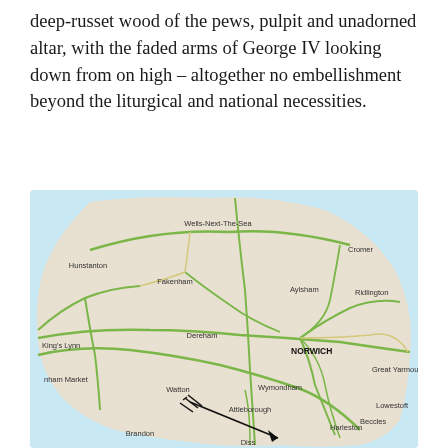deep-russet wood of the pews, pulpit and unadorned altar, with the faded arms of George IV looking down from on high – altogether no embellishment beyond the liturgical and national necessities.
[Figure (map): A map of Norfolk, England, showing towns including Norwich (bold), Wells-Next-The-Sea, Cromer, Hunstanton, King's Lynn, Fakenham, Aylsham, Ridlington, Dereham, Great Yarmouth, Swaffham Market, Watton, Wymondham, Attleborough, Brandon, Diss, Harleston, Beccles, Lowestoft. A black arrow points from the Watton area southeast toward Diss/Attleborough area. Roads shown in green and cream. Coastal water shown in light blue.]